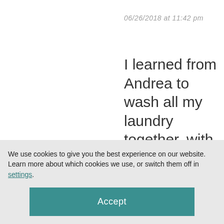06/26/2018 at 11:42 pm
I learned from Andrea to wash all my laundry together, with no sorting. During the day, any dirty laundry goes
We use cookies to give you the best experience on our website.
Learn more about which cookies we use, or switch them off in settings.
Accept
wash about an hour or two before